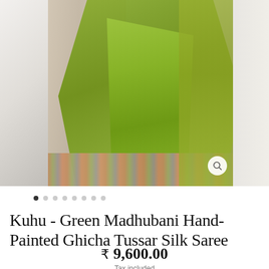[Figure (photo): A woman wearing a green Madhubani hand-painted Ghicha Tussar Silk Saree with decorative border. The saree is bright olive/chartreuse green with an ornate multicolored painted border at the hem and pallu edge. The model is photographed from neck down against a light grey/white studio background. A portion of a second image is visible on the right edge.]
Kuhu - Green Madhubani Hand-Painted Ghicha Tussar Silk Saree
₹ 9,600.00
Tax included